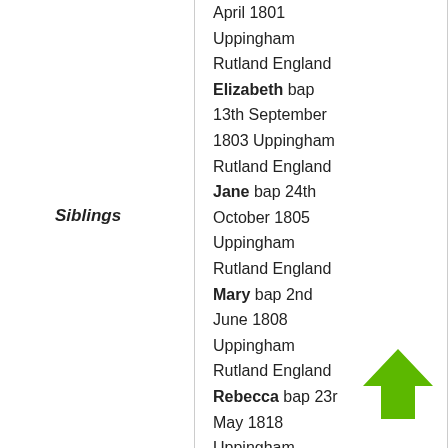Siblings
April 1801
Uppingham
Rutland England
Elizabeth bap 13th September 1803 Uppingham Rutland England
Jane bap 24th October 1805 Uppingham Rutland England
Mary bap 2nd June 1808 Uppingham Rutland England
Rebecca bap 23rd May 1818 Uppingham Rutland England
[Figure (illustration): Green upward-pointing arrow icon]